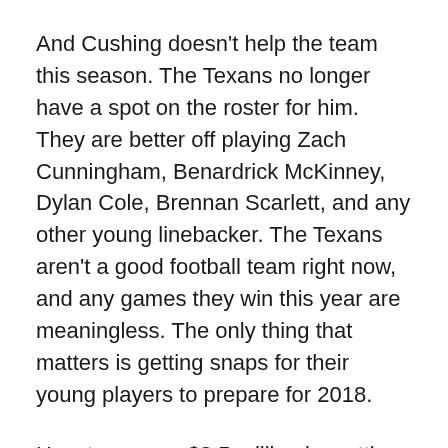And Cushing doesn't help the team this season. The Texans no longer have a spot on the roster for him. They are better off playing Zach Cunningham, Benardrick McKinney, Dylan Cole, Brennan Scarlett, and any other young linebacker. The Texans aren't a good football team right now, and any games they win this year are meaningless. The only thing that matters is getting snaps for their young players to prepare for 2018.
Houston saves $8.5 million by cutting Brian Cushing before next season. Why wait to do it? There's no reason to keep him around. Send him home. Put a note in his lunch box. Tell him you love him. Then let him play for a contending football team. It would be perfect for him to go to New England and win a title there, and to rub that in the rest of the world's chin...